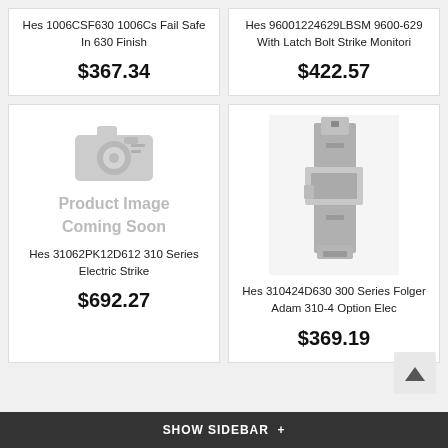Hes 1006CSF630 1006Cs Fail Safe In 630 Finish
$367.34
Hes 96001224629LBSM 9600-629 With Latch Bolt Strike Monitori
$422.57
[Figure (illustration): Product Image Coming Soon placeholder with camera icon]
Hes 31062PK12D612 310 Series Electric Strike
$692.27
[Figure (photo): Photo of Hes 310424D630 300 Series Folger Adam 310-4 Option electric strike hardware in satin chrome/aluminum finish]
Hes 310424D630 300 Series Folger Adam 310-4 Option Elec
$369.19
SHOW SIDEBAR +